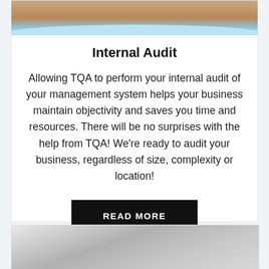[Figure (photo): Top portion of a card showing a photo with warm tones and blue sky/water, fading into a light blue curved bottom edge]
Internal Audit
Allowing TQA to perform your internal audit of your management system helps your business maintain objectivity and saves you time and resources. There will be no surprises with the help from TQA! We're ready to audit your business, regardless of size, complexity or location!
READ MORE
[Figure (photo): Bottom portion showing the top of a second card with a gray gradient photo/image]